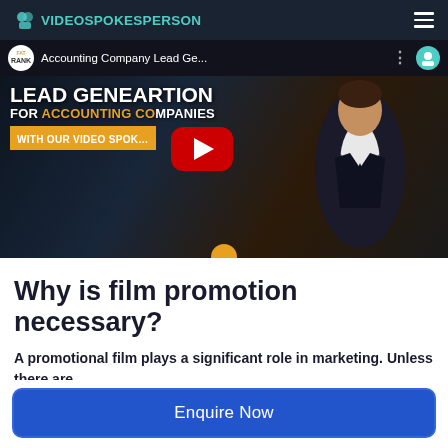VIDEOSPOKESPERSON
[Figure (screenshot): YouTube video thumbnail showing 'Accounting Company Lead Ge...' video with text overlay 'LEAD GENEARTION FOR ACCOUNTING COMPANIES WITH OUR VIDEO SPOKESPERSON' and a red YouTube play button. A man in a suit is visible on the right side.]
Why is film promotion necessary?
A promotional film plays a significant role in marketing. Unless there are
Enquire Now